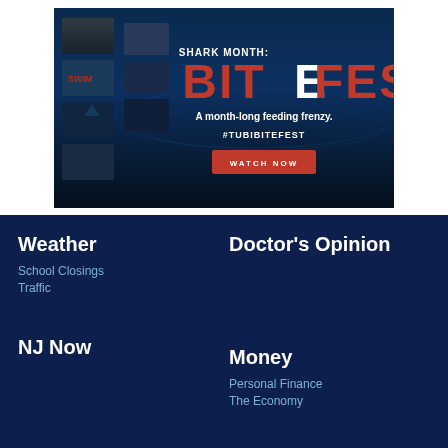[Figure (illustration): Advertisement banner for Tubi 'Shark Month: Bitefest' showing shark-themed movie thumbnails on dark ocean background, with large red 'BITEFEST' text, tagline 'A month-long feeding frenzy.', hashtag '#TUBIBITEFEST', and a red 'WATCH NOW' button.]
Weather
School Closings
Traffic
Doctor's Opinion
NJ Now
Money
Personal Finance
The Economy